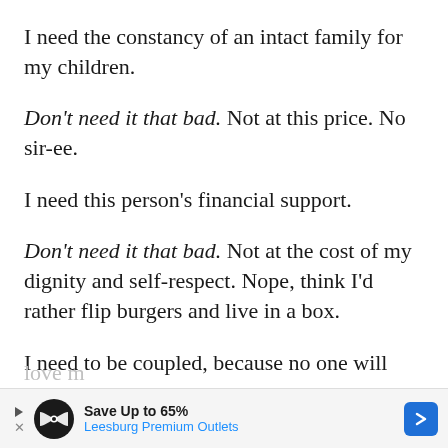I need the constancy of an intact family for my children.
Don't need it that bad. Not at this price. No sir-ee.
I need this person's financial support.
Don't need it that bad. Not at the cost of my dignity and self-respect. Nope, think I'd rather flip burgers and live in a box.
I need to be coupled, because no one will ever love m...
[Figure (other): Advertisement banner: Save Up to 65% Leesburg Premium Outlets]